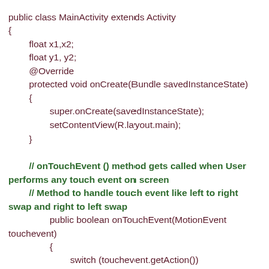public class MainActivity extends Activity
{
        float x1,x2;
        float y1, y2;
        @Override
        protected void onCreate(Bundle savedInstanceState)
        {
                super.onCreate(savedInstanceState);
                setContentView(R.layout.main);
        }

        // onTouchEvent () method gets called when User performs any touch event on screen
        // Method to handle touch event like left to right swap and right to left swap
                public boolean onTouchEvent(MotionEvent touchevent)
                {
                        switch (touchevent.getAction())
                        {
                                // when user first touches the